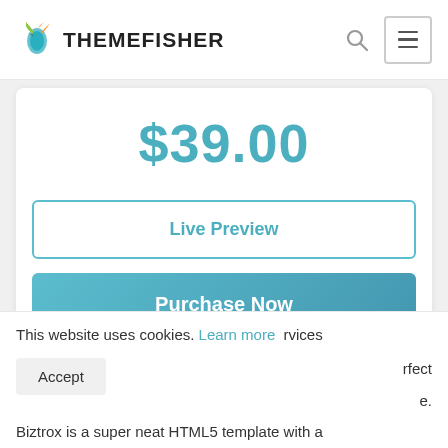[Figure (logo): ThemeFisher logo with colorful bird/hummingbird icon and bold text THEMEFISHER]
$39.00
Live Preview
Purchase Now
This website uses cookies. Learn more rvices rfect e.
Accept
Biztrox is a super neat HTML5 template with a